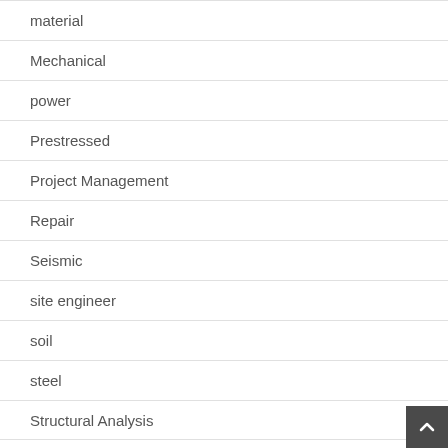material
Mechanical
power
Prestressed
Project Management
Repair
Seismic
site engineer
soil
steel
Structural Analysis